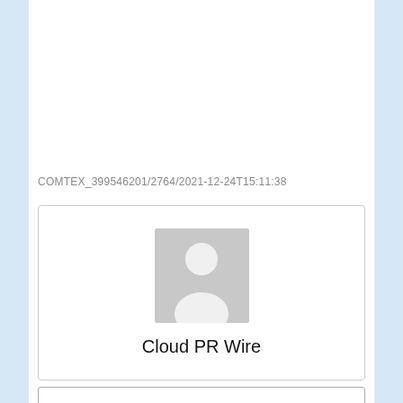COMTEX_399546201/2764/2021-12-24T15:11:38
[Figure (illustration): User avatar placeholder image (grey silhouette of a person) with text 'Cloud PR Wire' below it, inside a bordered card.]